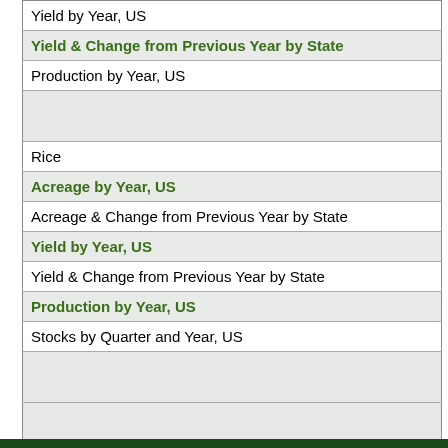| Yield by Year, US |
| Yield & Change from Previous Year by State |
| Production by Year, US |
|  |
| Rice |
| Acreage by Year, US |
| Acreage & Change from Previous Year by State |
| Yield by Year, US |
| Yield & Change from Previous Year by State |
| Production by Year, US |
| Stocks by Quarter and Year, US |
|  |
|  |